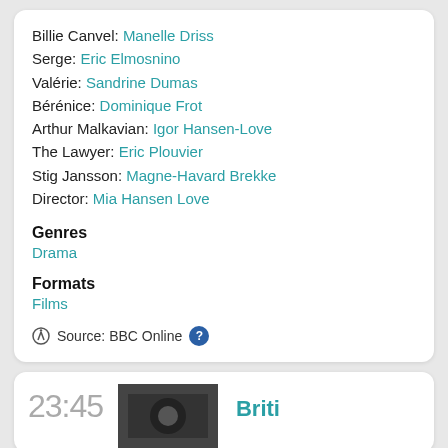Billie Canvel: Manelle Driss
Serge: Eric Elmosnino
Valérie: Sandrine Dumas
Bérénice: Dominique Frot
Arthur Malkavian: Igor Hansen-Love
The Lawyer: Eric Plouvier
Stig Jansson: Magne-Havard Brekke
Director: Mia Hansen Love
Genres
Drama
Formats
Films
Source: BBC Online
23:45